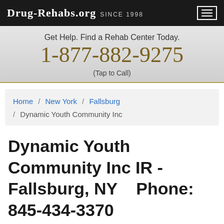Drug-Rehabs.org Since 1998
Get Help. Find a Rehab Center Today.
1-877-882-9275
(Tap to Call)
Home / New York / Fallsburg / Dynamic Youth Community Inc
Dynamic Youth Community Inc IR - Fallsburg, NY    Phone: 845-434-3370
Dynamic Youth Community Inc IR